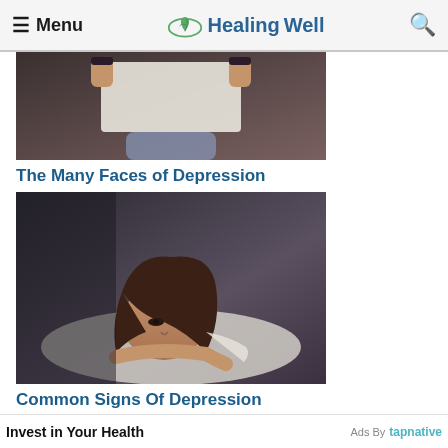≡ Menu  HealingWell  🔍
[Figure (photo): Person holding up a white paper/book in front of their face, hiding their identity, suggesting depression and hidden emotions]
The Many Faces of Depression
[Figure (photo): Young woman with long brown hair lying on a pillow looking sad and fatigued, depicting common signs of depression]
Common Signs Of Depression
Invest in Your Health
Ads By tapnative